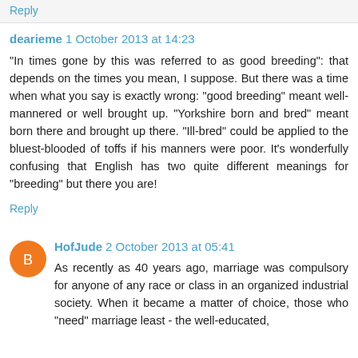Reply
dearieme  1 October 2013 at 14:23
"In times gone by this was referred to as good breeding": that depends on the times you mean, I suppose. But there was a time when what you say is exactly wrong: "good breeding" meant well-mannered or well brought up. "Yorkshire born and bred" meant born there and brought up there. "Ill-bred" could be applied to the bluest-blooded of toffs if his manners were poor. It's wonderfully confusing that English has two quite different meanings for "breeding" but there you are!
Reply
HofJude  2 October 2013 at 05:41
As recently as 40 years ago, marriage was compulsory for anyone of any race or class in an organized industrial society. When it became a matter of choice, those who "need" marriage least - the well-educated,